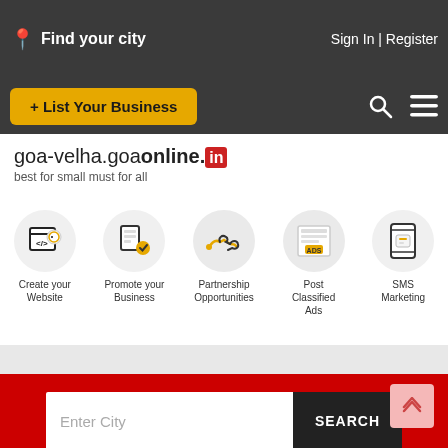Find your city | Sign In | Register
+ List Your Business
goa-velha.goaonline.in
best for small must for all
[Figure (illustration): Five service icons: Create your Website, Promote your Business, Partnership Opportunities, Post Classified Ads, SMS Marketing]
Enter City
SEARCH